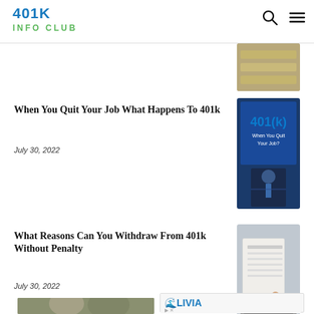401K INFO CLUB
[Figure (photo): Partial thumbnail of dollar bills/money image, cropped at top]
When You Quit Your Job What Happens To 401k
July 30, 2022
[Figure (photo): 401(k) When You Quit Your Job? thumbnail with man in suit giving thumbs up]
What Reasons Can You Withdraw From 401k Without Penalty
July 30, 2022
[Figure (photo): Hands reviewing financial documents / tax papers on keyboard]
[Figure (photo): Elderly couple smiling together]
[Figure (other): LIVIA Senior Living advertisement with Visit Today button]